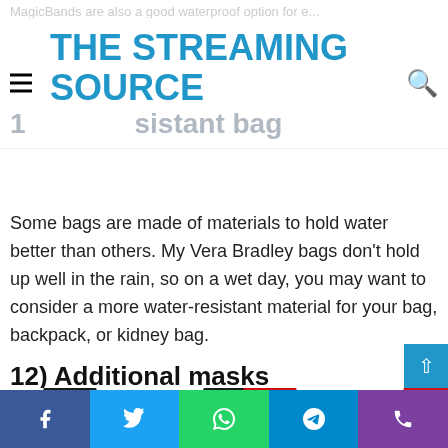MagicBands are also a good waterproof option for e...
THE STREAMING SOURCE
1... ...sistant bag
Some bags are made of materials to hold water better than others. My Vera Bradley bags don't hold up well in the rain, so on a wet day, you may want to consider a more water-resistant material for your bag, backpack, or kidney bag.
12) Additional masks
[Figure (photo): Two cartoon-style face masks: one black with mouse ears, one red/yellow with mouse ears, partially cropped at bottom of page]
Facebook | Twitter | WhatsApp | Telegram | Phone